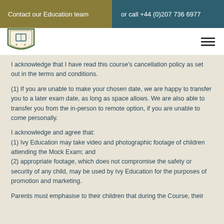Contact our Education team
or call +44 (0)207 736 6977
[Figure (logo): Ivy Education shield/crest logo with book and stars]
I acknowledge that I have read this course’s cancellation policy as set out in the terms and conditions.
(1) If you are unable to make your chosen date, we are happy to transfer you to a later exam date, as long as space allows. We are also able to transfer you from the in-person to remote option, if you are unable to come personally.
I acknowledge and agree that:
(1) Ivy Education may take video and photographic footage of children attending the Mock Exam; and
(2) appropriate footage, which does not compromise the safety or security of any child, may be used by Ivy Education for the purposes of promotion and marketing.
Parents must emphasise to their children that during the Course, their